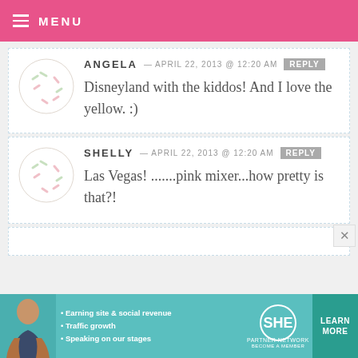MENU
ANGELA — APRIL 22, 2013 @ 12:20 AM
Disneyland with the kiddos! And I love the yellow. :)
SHELLY — APRIL 22, 2013 @ 12:20 AM
Las Vegas! .......pink mixer...how pretty is that?!
[Figure (infographic): Advertisement banner for SHE Partner Network showing a woman, bullet points about earning site & social revenue, traffic growth, speaking on our stages, with Learn More button]